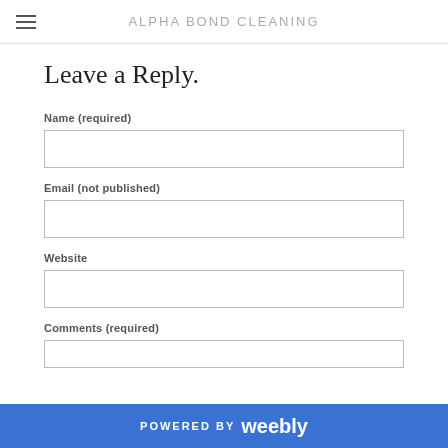ALPHA BOND CLEANING
Leave a Reply.
Name (required)
Email (not published)
Website
Comments (required)
POWERED BY weebly